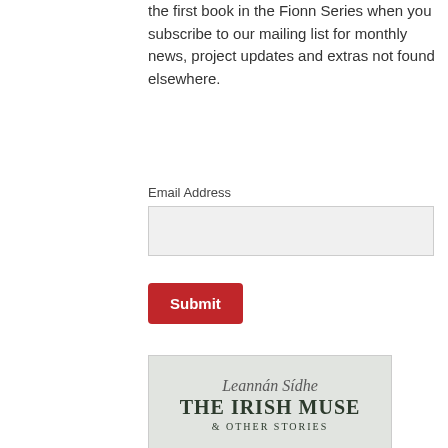the first book in the Fionn Series when you subscribe to our mailing list for monthly news, project updates and extras not found elsewhere.
Email Address
[Figure (screenshot): Empty email address input field (light gray background)]
[Figure (screenshot): Red Submit button]
[Figure (illustration): Book cover: Leannán Sídhe – The Irish Muse & Other Stories. Shows a rural Irish landscape with green fields, stone walls, a winding road and a misty background.]